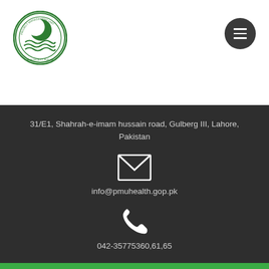[Figure (logo): Project Management Unit circular green emblem logo with crescent moon and water waves]
[Figure (other): Dark circular hamburger menu button with three white horizontal lines]
31/E1, Shahrah-e-imam hussain road, Gulberg III, Lahore, Pakistan
[Figure (other): White envelope/mail icon on dark background]
info@pmuhealth.gop.pk
[Figure (other): White telephone/phone icon on dark background]
042-35775360,61,65